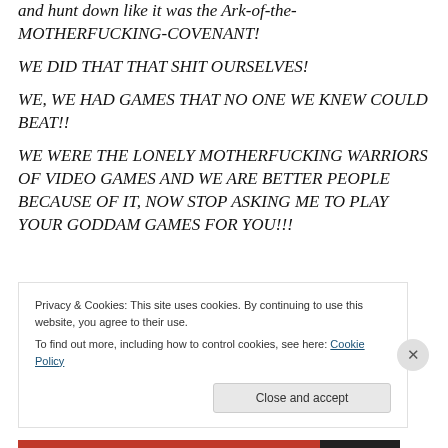and hunt down like it was the Ark-of-the-MOTHERFUCKING-COVENANT!
WE DID THAT THAT SHIT OURSELVES!
WE, WE HAD GAMES THAT NO ONE WE KNEW COULD BEAT!!
WE WERE THE LONELY MOTHERFUCKING WARRIORS OF VIDEO GAMES AND WE ARE BETTER PEOPLE BECAUSE OF IT, NOW STOP ASKING ME TO PLAY YOUR GODDAM GAMES FOR YOU!!!
Privacy & Cookies: This site uses cookies. By continuing to use this website, you agree to their use.
To find out more, including how to control cookies, see here: Cookie Policy
Close and accept